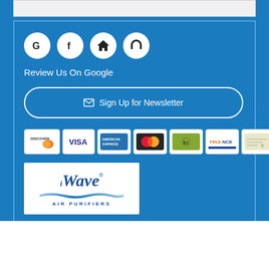[Figure (screenshot): Social media icons row: Google (G), Facebook (f), house/home icon, headset/phone icon — all in white circles on blue background]
Review Us On Google
[Figure (other): Sign Up for Newsletter button — white outline pill button with envelope icon]
[Figure (other): Payment method icons: Discover, Visa, American Express, MasterCard, cash/dollar bill, Finance, check]
[Figure (logo): iWave Air Purifiers logo — white box with blue italic iWave text, wave graphic, and AIR PURIFIERS text below]